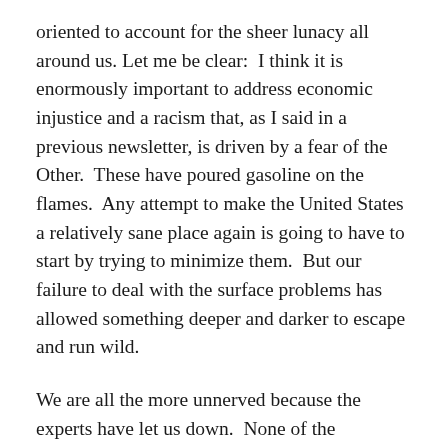oriented to account for the sheer lunacy all around us. Let me be clear: I think it is enormously important to address economic injustice and a racism that, as I said in a previous newsletter, is driven by a fear of the Other. These have poured gasoline on the flames. Any attempt to make the United States a relatively sane place again is going to have to start by trying to minimize them. But our failure to deal with the surface problems has allowed something deeper and darker to escape and run wild.
We are all the more unnerved because the experts have let us down. None of the prestigious models of human behavior provide the slightest clue as to what is going on, let alone how to cope with it: not behaviorism, not cognitive the-mind-is-a-computational-device theories, not the medical psychiatric model based on organic